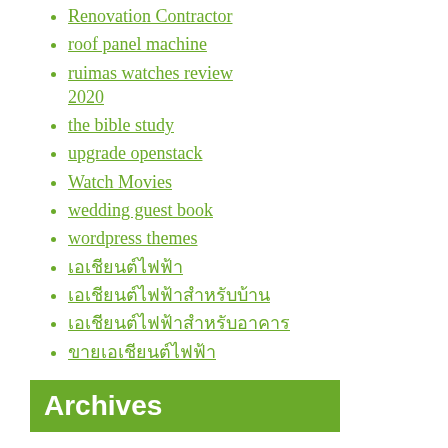Renovation Contractor
roof panel machine
ruimas watches review 2020
the bible study
upgrade openstack
Watch Movies
wedding guest book
wordpress themes
เอเชียนต์ไฟฟ้า
เอเชียนต์ไฟฟ้าสำหรับบ้าน
เอเชียนต์ไฟฟ้าสำหรับอาคาร
ขายเอเชียนต์ไฟฟ้า
Archives
July 2020
March 2020
February 2020
January 2020
December 2019
November 2019
October 2019
September 2019